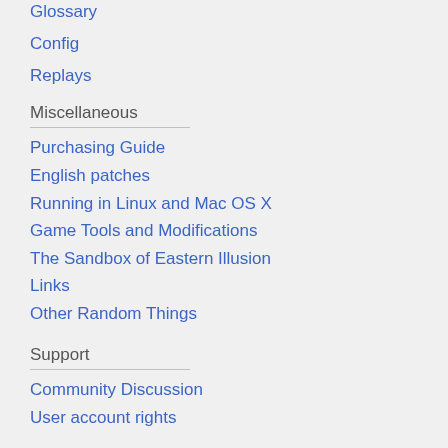Glossary
Config
Replays
Miscellaneous
Purchasing Guide
English patches
Running in Linux and Mac OS X
Game Tools and Modifications
The Sandbox of Eastern Illusion
Links
Other Random Things
Support
Community Discussion
User account rights